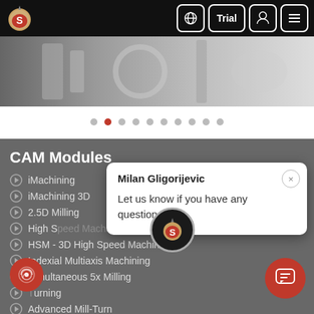[Figure (screenshot): Website navigation bar with logo, globe icon, Trial button, profile icon, and menu icon on black background]
[Figure (photo): Hero banner showing metallic CNC machining equipment in grayscale]
[Figure (other): Carousel dot navigation with 10 dots, second dot highlighted in red]
CAM Modules
iMachining
iMachining 3D
2.5D Milling
High Speed Machining
HSM - 3D High Speed Machining
Indexial Multiaxis Machining
Simultaneous 5x Milling
Turning
Advanced Mill-Turn
Milan Gligorijevic
Let us know if you have any questions.